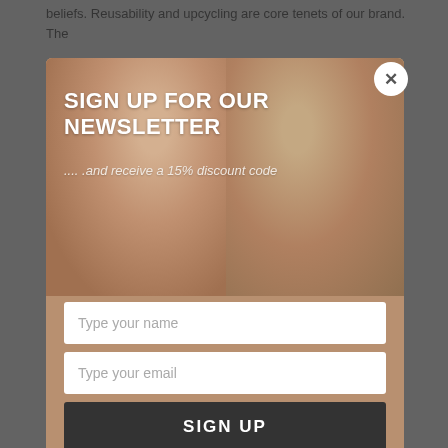beliefs. Reusability and upcycling are core tenets of our brand. The
[Figure (screenshot): Newsletter signup modal popup overlaid on a webpage. The modal shows two children in warm-toned clothing on a background photo. It has a headline 'SIGN UP FOR OUR NEWSLETTER', subtitle '... and receive a 15% discount code', two input fields for name and email, and a dark SIGN UP button. A circular close (X) button is in the top right corner.]
Wash Code W2